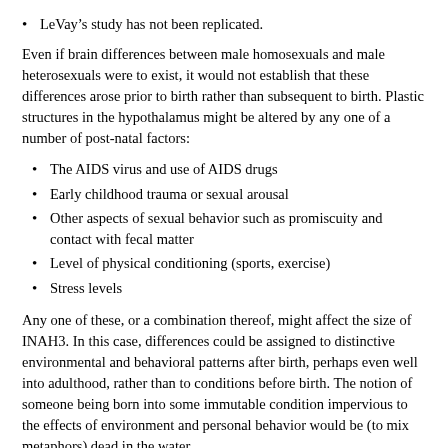LeVay's study has not been replicated.
Even if brain differences between male homosexuals and male heterosexuals were to exist, it would not establish that these differences arose prior to birth rather than subsequent to birth. Plastic structures in the hypothalamus might be altered by any one of a number of post-natal factors:
The AIDS virus and use of AIDS drugs
Early childhood trauma or sexual arousal
Other aspects of sexual behavior such as promiscuity and contact with fecal matter
Level of physical conditioning (sports, exercise)
Stress levels
Any one of these, or a combination thereof, might affect the size of INAH3. In this case, differences could be assigned to distinctive environmental and behavioral patterns after birth, perhaps even well into adulthood, rather than to conditions before birth. The notion of someone being born into some immutable condition impervious to the effects of environment and personal behavior would be (to mix metaphors) dead in the water.
(2) A homosexual gene?